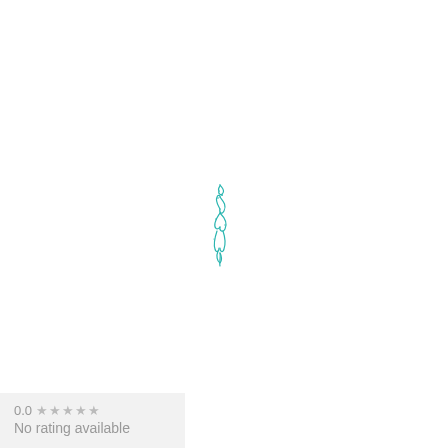[Figure (logo): Small teal/cyan colored logo or icon resembling a stylized figure or flame shape, positioned near the center of the page]
0.0 ★★★★★
No rating available